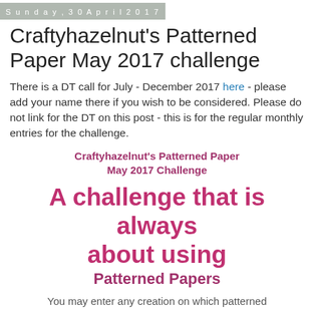Sunday, 30 April 2017
Craftyhazelnut's Patterned Paper May 2017 challenge
There is a DT call for July - December 2017 here - please add your name there if you wish to be considered. Please do not link for the DT on this post - this is for the regular monthly entries for the challenge.
Craftyhazelnut's Patterned Paper May 2017 Challenge
A challenge that is always about using
Patterned Papers
You may enter any creation on which patterned